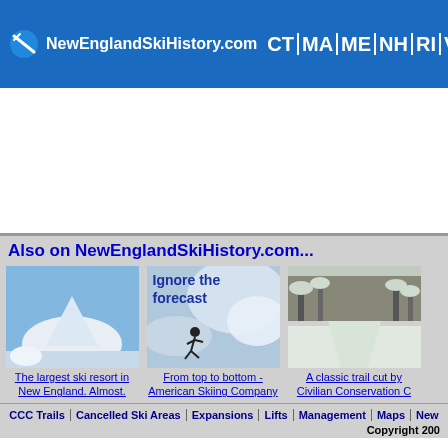NewEnglandSkiHistory.com  CT | MA | ME | NH | RI | VT  Ski
[Figure (screenshot): White blank advertisement area]
Also on NewEnglandSkiHistory.com...
[Figure (photo): Snow-covered mountain summit in New England]
The largest ski resort in New England. Almost.
[Figure (photo): Skier going top to bottom with text overlay 'Ignore the forecast']
From top to bottom - American Skiing Company
[Figure (photo): Classic trail cut through snowy forest]
A classic trail cut by Civilian Conservation C
CCC Trails  Cancelled Ski Areas  Expansions  Lifts  Management  Maps  New... Copyright 200